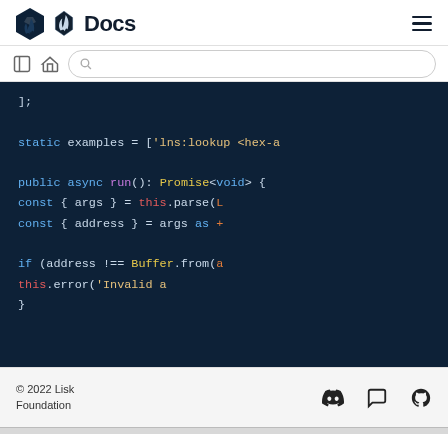Docs
[Figure (screenshot): Code editor screenshot showing TypeScript/JavaScript code with syntax highlighting on dark background. Lines visible: ]; static examples = ['lns:lookup <hex-a  public async run(): Promise<void> {  const { args } = this.parse(  const { address } = args as   if (address !== Buffer.from(a  this.error('Invalid a  }]
© 2022 Lisk Foundation